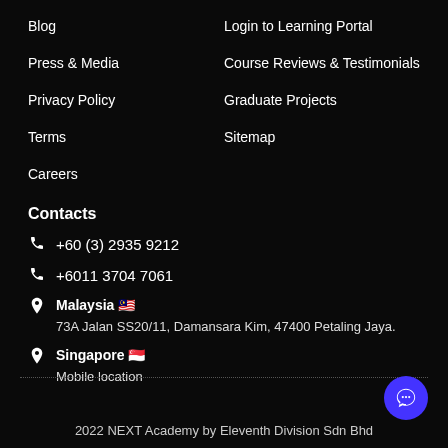Blog
Login to Learning Portal
Press & Media
Course Reviews & Testimonials
Privacy Policy
Graduate Projects
Terms
Sitemap
Careers
Contacts
+60 (3) 2935 9212
+6011 3704 7061
Malaysia 🇲🇾
73A Jalan SS20/11, Damansara Kim, 47400 Petaling Jaya.
Singapore 🇸🇬
Mobile location
2022 NEXT Academy by Eleventh Division Sdn Bhd